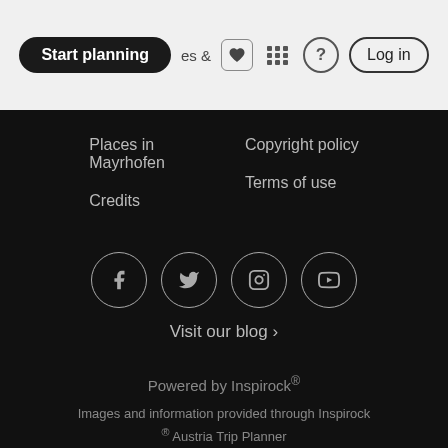Start planning | Places & Activities | ? | Log in
Places in Mayrhofen
Credits
Copyright policy
Terms of use
[Figure (other): Social media icons row: Facebook, Twitter, Instagram, YouTube - circular outline icons]
Visit our blog ›
Powered by Inspirock®
Images and information provided through Inspirock ® Austria Trip Planner
powered by Google